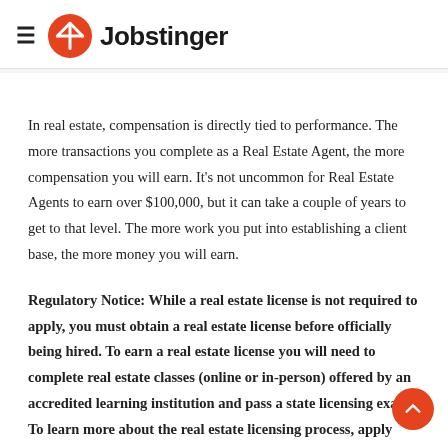≡ Jobstinger
In real estate, compensation is directly tied to performance. The more transactions you complete as a Real Estate Agent, the more compensation you will earn. It's not uncommon for Real Estate Agents to earn over $100,000, but it can take a couple of years to get to that level. The more work you put into establishing a client base, the more money you will earn.
Regulatory Notice: While a real estate license is not required to apply, you must obtain a real estate license before officially being hired. To earn a real estate license you will need to complete real estate classes (online or in-person) offered by an accredited learning institution and pass a state licensing exam. To learn more about the real estate licensing process, apply now and a representative will provide additional details.